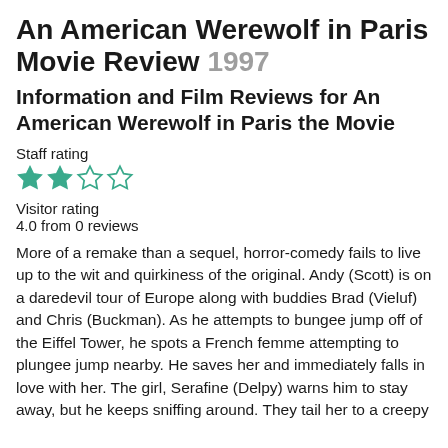An American Werewolf in Paris Movie Review 1997
Information and Film Reviews for An American Werewolf in Paris the Movie
Staff rating
[Figure (other): Star rating: 2 out of 4 stars filled (teal/green colored stars)]
Visitor rating
4.0 from 0 reviews
More of a remake than a sequel, horror-comedy fails to live up to the wit and quirkiness of the original. Andy (Scott) is on a daredevil tour of Europe along with buddies Brad (Vieluf) and Chris (Buckman). As he attempts to bungee jump off of the Eiffel Tower, he spots a French femme attempting to plungee jump nearby. He saves her and immediately falls in love with her. The girl, Serafine (Delpy) warns him to stay away, but he keeps sniffing around. They tail her to a creepy